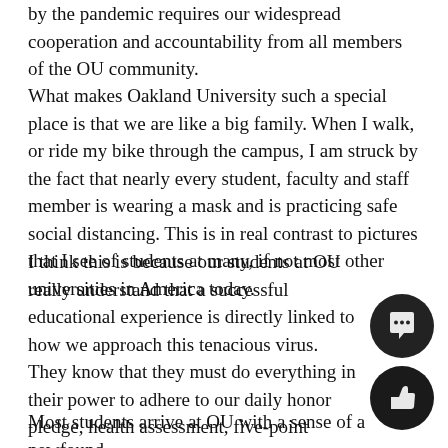by the pandemic requires our widespread cooperation and accountability from all members of the OU community.
What makes Oakland University such a special place is that we are like a big family. When I walk, or ride my bike through the campus, I am struck by the fact that nearly every student, faculty and staff member is wearing a mask and is practicing safe social distancing. This is in real contrast to pictures that I see of students at many, if not most other universities in America today.
I think this is because our students at OU really understand that a successful educational experience is directly linked to how we approach this tenacious virus. They know that they must do everything in their power to adhere to our daily honor pledge, health assessment, five-point Grizzlies P… Grizzlies: Healthy Together plan and get their flu vaccine.
Most students arrive at OU with a sense of a newfound freedom and a great excitement about the possibilities of the…